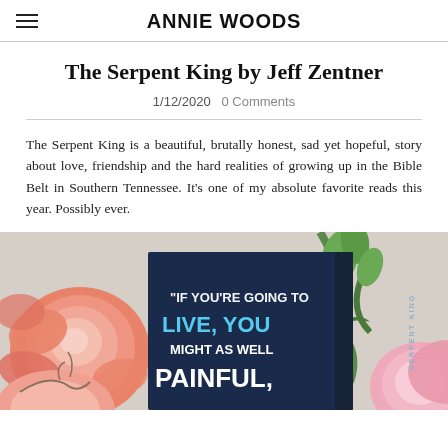ANNIE WOODS
The Serpent King by Jeff Zentner
1/12/2020   0 Comments
The Serpent King is a beautiful, brutally honest, sad yet hopeful, story about love, friendship and the hard realities of growing up in the Bible Belt in Southern Tennessee. It's one of my absolute favorite reads this year. Possibly ever.
[Figure (photo): Photo of The Serpent King book cover surrounded by pink/coral roses and green flowers against a light background. The book cover shows bold text reading "IF YOU'RE GOING TO LIVE, YOU MIGHT AS WELL BE PAINFUL," with the spine text reading SERPENT KING.]